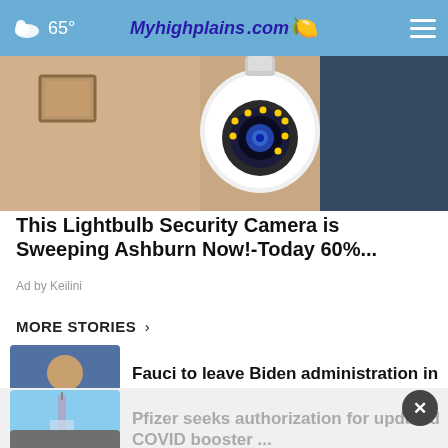65° Myhighplains.com
[Figure (photo): A lightbulb security camera on a ceiling with a room in the background]
This Lightbulb Security Camera is Sweeping Ashburn Now!-Today 60%...
Ad by Keilini
MORE STORIES ›
[Figure (photo): Dr. Fauci speaking at a podium with WHO logo visible]
Fauci to leave Biden administration in December
[Figure (photo): Medical syringe being held up]
Pfizer seeks authorization for updated COVID booster ...
[Figure (photo): Grayscale news thumbnail]
'All of you will pay': Texas man planned